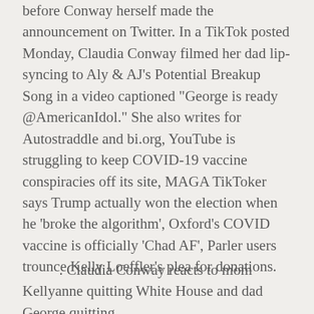before Conway herself made the announcement on Twitter. In a TikTok posted Monday, Claudia Conway filmed her dad lip-syncing to Aly & AJ's Potential Breakup Song in a video captioned "George is ready @AmericanIdol." She also writes for Autostraddle and bi.org, YouTube is struggling to keep COVID-19 vaccine conspiracies off its site, MAGA TikToker says Trump actually won the election when he 'broke the algorithm', Oxford's COVID vaccine is officially 'Chad AF', Parler users trounce Kelly Loeffler's plea for donations.
. Claudia Conway reacts to mom Kellyanne quitting White House and dad George quitting